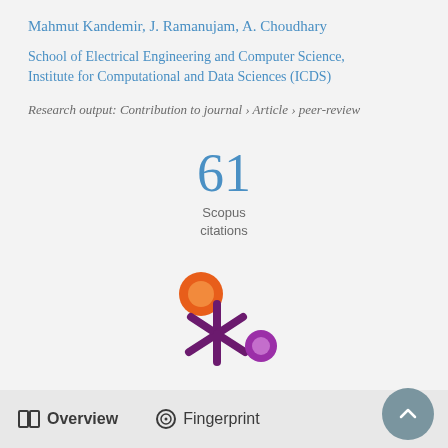Mahmut Kandemir, J. Ramanujam, A. Choudhary
School of Electrical Engineering and Computer Science, Institute for Computational and Data Sciences (ICDS)
Research output: Contribution to journal › Article › peer-review
[Figure (infographic): 61 Scopus citations badge with large blue number '61' and label 'Scopus citations' below]
[Figure (logo): Altmetric donut/snowflake logo with orange circle, purple asterisk/star shape, and purple circle]
Overview   Fingerprint